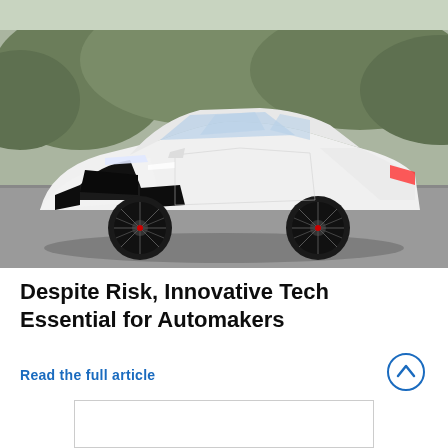[Figure (photo): White Genesis luxury sedan parked on a road with hills and trees in the background. The car has black wheels with red brake calipers and a distinctive black grille.]
Despite Risk, Innovative Tech Essential for Automakers
Read the full article
[Figure (other): Partially visible rectangular box at the bottom of the page, appears to be a card or embedded content box with a border.]